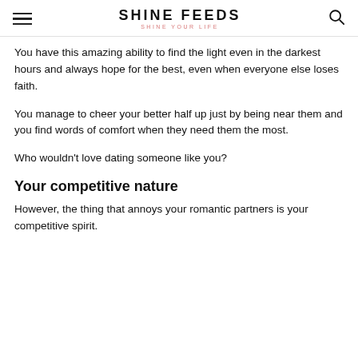SHINE FEEDS
SHINE YOUR LIFE
You have this amazing ability to find the light even in the darkest hours and always hope for the best, even when everyone else loses faith.
You manage to cheer your better half up just by being near them and you find words of comfort when they need them the most.
Who wouldn't love dating someone like you?
Your competitive nature
However, the thing that annoys your romantic partners is your competitive spirit.